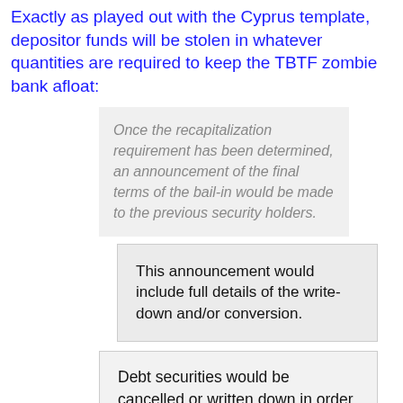Exactly as played out with the Cyprus template, depositor funds will be stolen in whatever quantities are required to keep the TBTF zombie bank afloat:
Once the recapitalization requirement has been determined, an announcement of the final terms of the bail-in would be made to the previous security holders.
This announcement would include full details of the write-down and/or conversion.
Debt securities would be cancelled or written down in order to return the firm to solvency by reducing the level of outstanding liabilities.  The losses would be applied up the firm's capital structure in a process that respects the existing creditor hierarchy underinsolvency law. The value of any loans from the parent to its operating subsidiaries would be written